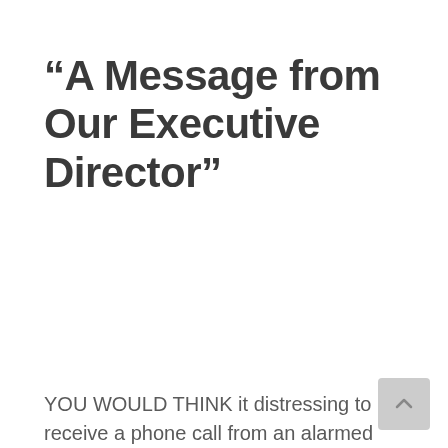"A Message from Our Executive Director"
YOU WOULD THINK it distressing to receive a phone call from an alarmed